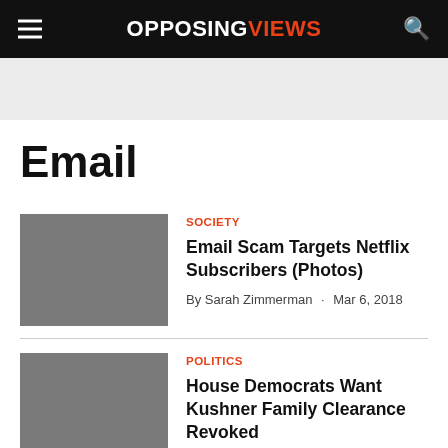OPPOSINGVIEWS
Email
SOCIETY
Email Scam Targets Netflix Subscribers (Photos)
By Sarah Zimmerman · Mar 6, 2018
POLITICS
House Democrats Want Kushner Family Clearance Revoked
By Daniel Barnes · Mar 6, 2018